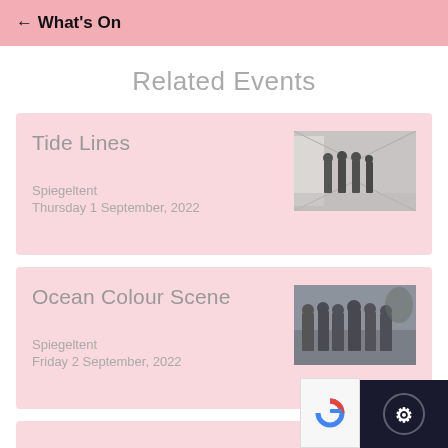← What's On
Related Events
Tide Lines
Spiegeltent
Thursday 1 September, 2022
[Figure (photo): Photo of Tide Lines band members standing in a corridor/hallway, monochrome/desaturated]
Ocean Colour Scene
Spiegeltent
Friday 2 September, 2022
[Figure (photo): Photo of Ocean Colour Scene band members, group photo, slightly desaturated]